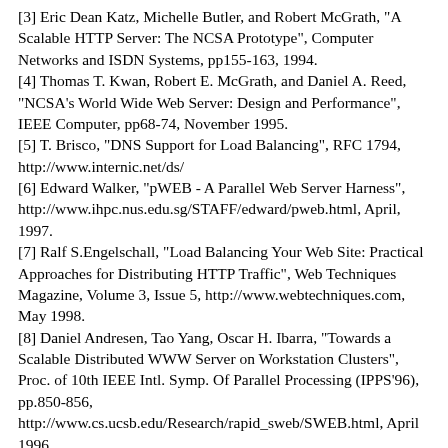[3] Eric Dean Katz, Michelle Butler, and Robert McGrath, "A Scalable HTTP Server: The NCSA Prototype", Computer Networks and ISDN Systems, pp155-163, 1994.
[4] Thomas T. Kwan, Robert E. McGrath, and Daniel A. Reed, "NCSA's World Wide Web Server: Design and Performance", IEEE Computer, pp68-74, November 1995.
[5] T. Brisco, "DNS Support for Load Balancing", RFC 1794, http://www.internic.net/ds/
[6] Edward Walker, "pWEB - A Parallel Web Server Harness", http://www.ihpc.nus.edu.sg/STAFF/edward/pweb.html, April, 1997.
[7] Ralf S.Engelschall, "Load Balancing Your Web Site: Practical Approaches for Distributing HTTP Traffic", Web Techniques Magazine, Volume 3, Issue 5, http://www.webtechniques.com, May 1998.
[8] Daniel Andresen, Tao Yang, Oscar H. Ibarra, "Towards a Scalable Distributed WWW Server on Workstation Clusters", Proc. of 10th IEEE Intl. Symp. Of Parallel Processing (IPPS'96), pp.850-856, http://www.cs.ucsb.edu/Research/rapid_sweb/SWEB.html, April 1996.
[9] Eric Anderson, Dave Patterson, and Eric Brewer, "The Magicrouter: an Application of Fast Packet Interposing", http://www.cs.berkeley.edu/~eanders/magicrouter/, May 1996.
[10] Om P. Damani, P. Emerald Chung, Yennun Huang, "ONE-IP: Techniques for Hosting a Service on a Cluster of Machines",